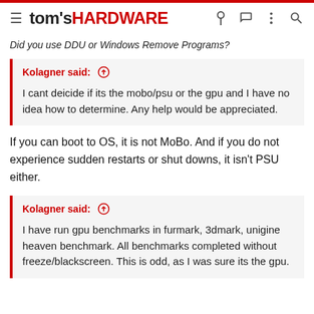tom's HARDWARE
Did you use DDU or Windows Remove Programs?
Kolagner said: ↑

I cant deicide if its the mobo/psu or the gpu and I have no idea how to determine. Any help would be appreciated.
If you can boot to OS, it is not MoBo. And if you do not experience sudden restarts or shut downs, it isn't PSU either.
Kolagner said: ↑

I have run gpu benchmarks in furmark, 3dmark, unigine heaven benchmark. All benchmarks completed without freeze/blackscreen. This is odd, as I was sure its the gpu.